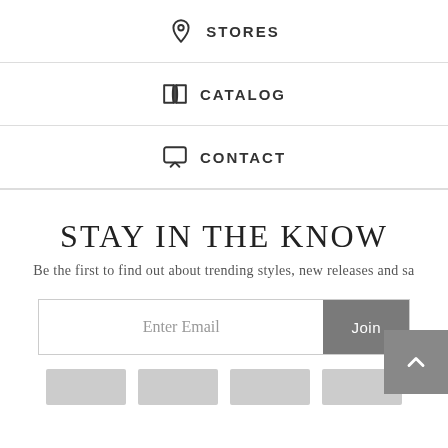STORES
CATALOG
CONTACT
STAY IN THE KNOW
Be the first to find out about trending styles, new releases and sa...
Enter Email | Join